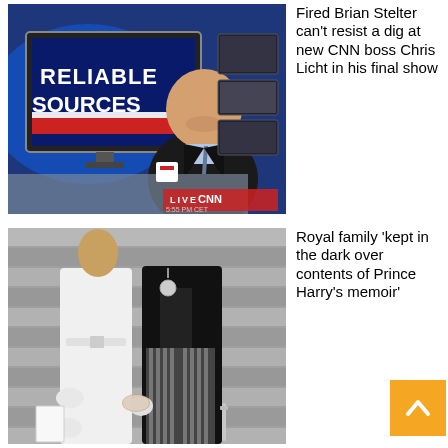[Figure (photo): Brian Stelter smiling at anchor desk on CNN's Reliable Sources set with 'RELIABLE SOURCES' logo on studio monitor, LIVE CNN lower-third visible]
Fired Brian Stelter can't resist a dig at new CNN boss Chris Licht in his final show
[Figure (photo): Woman in white coat and gloves holding hands with man in formal black tailcoat and striped trousers, both partially visible on stone steps]
Royal family 'kept in the dark over contents of Prince Harry's memoir'